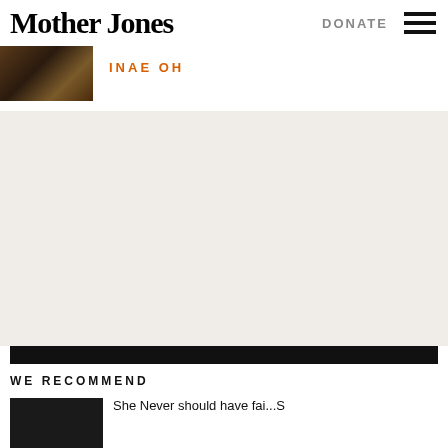Mother Jones | DONATE
[Figure (photo): Thumbnail photo of a person, dark toned]
INAE OH
[Figure (other): Large advertisement or blank content area with light beige/cream background]
WE RECOMMEND
[Figure (photo): Small thumbnail image, dark background]
She Never should have fai...S